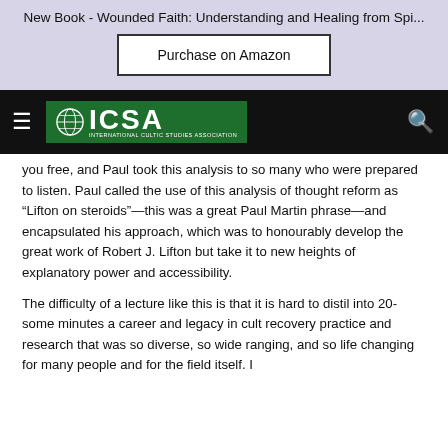New Book - Wounded Faith: Understanding and Healing from Spi...
Purchase on Amazon
[Figure (logo): ICSA International Cultic Studies Association logo with green background and globe icon, on black navigation bar with hamburger menu and search icon]
you free, and Paul took this analysis to so many who were prepared to listen. Paul called the use of this analysis of thought reform as “Lifton on steroids”—this was a great Paul Martin phrase—and encapsulated his approach, which was to honourably develop the great work of Robert J. Lifton but take it to new heights of explanatory power and accessibility.
The difficulty of a lecture like this is that it is hard to distil into 20-some minutes a career and legacy in cult recovery practice and research that was so diverse, so wide ranging, and so life changing for many people and for the field itself. I